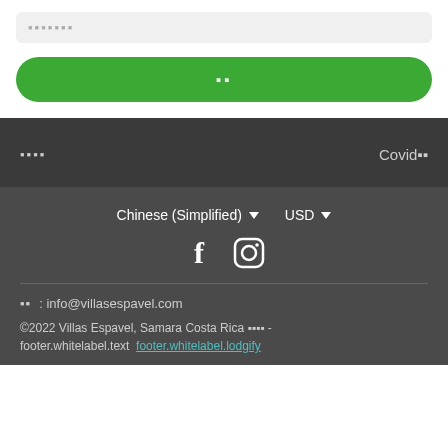▪▪▪▪▪▪▪
▪▪
▪▪▪▪
Covid▪▪
Chinese (Simplified) ▼   USD ▼
[Figure (illustration): Facebook and Instagram social media icons in white]
邮箱: info@villasespavel.com
©2022 Villas Espavel, Samara Costa Rica 保留权利 - footer.whitelabel.text  footer.whitelabel.lodgify